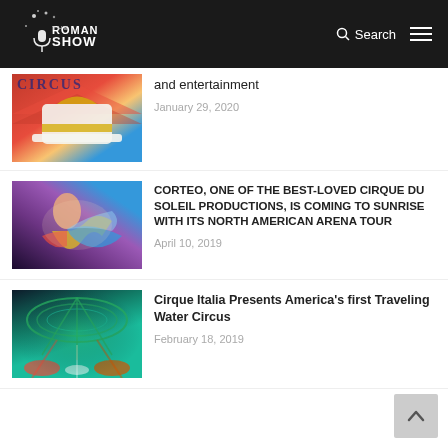Roman Show — Search / Menu
[Figure (photo): Partial circus article image with ringmaster hat]
and entertainment
January 29, 2020
[Figure (photo): Cirque du Soleil performer in colorful costume]
CORTEO, ONE OF THE BEST-LOVED CIRQUE DU SOLEIL PRODUCTIONS, IS COMING TO SUNRISE WITH ITS NORTH AMERICAN ARENA TOUR
April 10, 2019
[Figure (photo): Cirque Italia water circus with neon green lights]
Cirque Italia Presents America's first Traveling Water Circus
February 18, 2019